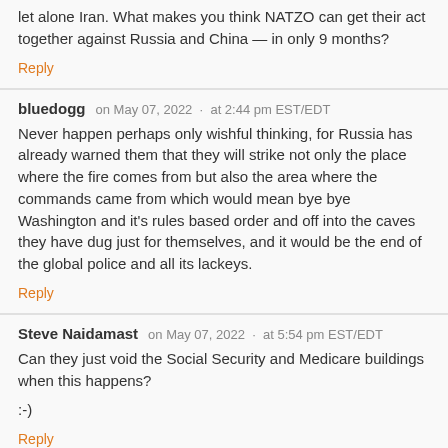let alone Iran. What makes you think NATZO can get their act together against Russia and China — in only 9 months?
Reply
bluedogg   on May 07, 2022  ·  at 2:44 pm EST/EDT
Never happen perhaps only wishful thinking, for Russia has already warned them that they will strike not only the place where the fire comes from but also the area where the commands came from which would mean bye bye Washington and it's rules based order and off into the caves they have dug just for themselves, and it would be the end of the global police and all its lackeys.
Reply
Steve Naidamast   on May 07, 2022  ·  at 5:54 pm EST/EDT
Can they just void the Social Security and Medicare buildings when this happens?
:-)
Reply